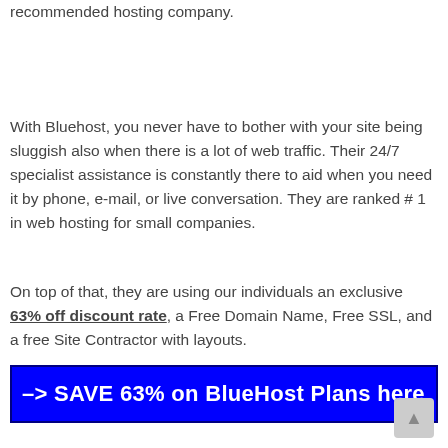recommended hosting company.
With Bluehost, you never have to bother with your site being sluggish also when there is a lot of web traffic. Their 24/7 specialist assistance is constantly there to aid when you need it by phone, e-mail, or live conversation. They are ranked # 1 in web hosting for small companies.
On top of that, they are using our individuals an exclusive 63% off discount rate, a Free Domain Name, Free SSL, and a free Site Contractor with layouts.
–> SAVE 63% on BlueHost Plans here